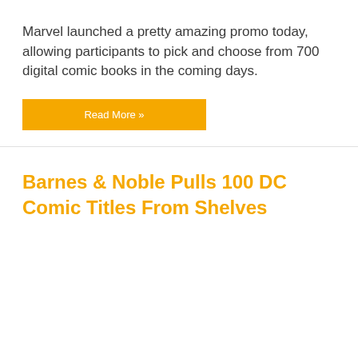Marvel launched a pretty amazing promo today, allowing participants to pick and choose from 700 digital comic books in the coming days.
Read More »
Barnes & Noble Pulls 100 DC Comic Titles From Shelves